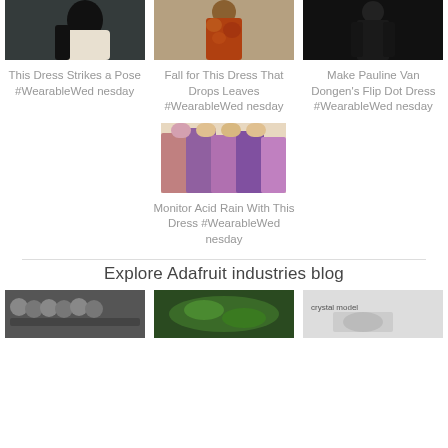[Figure (photo): Person in black coat against dark door background]
[Figure (photo): Person wearing orange/rust colored dress]
[Figure (photo): Person in dark fitted outfit against dark background]
This Dress Strikes a Pose #WearableWednesday
Fall for This Dress That Drops Leaves #WearableWednesday
Make Pauline Van Dongen's Flip Dot Dress #WearableWednesday
[Figure (photo): Multiple models wearing purple/violet color-changing dresses]
Monitor Acid Rain With This Dress #WearableWednesday
Explore Adafruit industries blog
[Figure (photo): Group of people, bottom left]
[Figure (photo): Green plant or object, bottom center]
[Figure (photo): Crystal model text visible, bottom right]